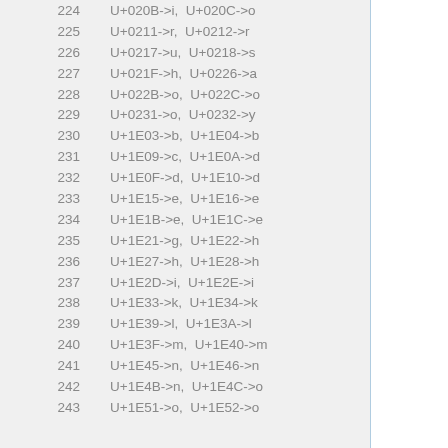| # | Values |
| --- | --- |
| 224 | U+020B->i, U+020C->o |
| 225 | U+0211->r, U+0212->r |
| 226 | U+0217->u, U+0218->s |
| 227 | U+021F->h, U+0226->a |
| 228 | U+022B->o, U+022C->o |
| 229 | U+0231->o, U+0232->y |
| 230 | U+1E03->b, U+1E04->b |
| 231 | U+1E09->c, U+1E0A->d |
| 232 | U+1E0F->d, U+1E10->d |
| 233 | U+1E15->e, U+1E16->e |
| 234 | U+1E1B->e, U+1E1C->e |
| 235 | U+1E21->g, U+1E22->h |
| 236 | U+1E27->h, U+1E28->h |
| 237 | U+1E2D->i, U+1E2E->i |
| 238 | U+1E33->k, U+1E34->k |
| 239 | U+1E39->l, U+1E3A->l |
| 240 | U+1E3F->m, U+1E40->m |
| 241 | U+1E45->n, U+1E46->n |
| 242 | U+1E4B->n, U+1E4C->o |
| 243 | U+1E51->o, U+1E52->o |